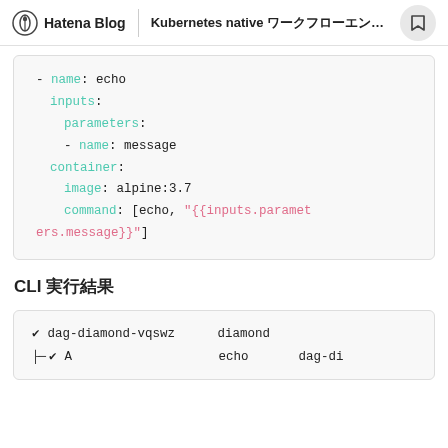Hatena Blog | Kubernetes native ワークフローエンジン Argo...
[Figure (screenshot): YAML code block showing a workflow template with name: echo, inputs, parameters, container with image alpine:3.7 and command using inputs.parameters.message]
CLI 実行結果
[Figure (screenshot): CLI output table showing dag-diamond-vqswz diamond and ├─✔ A echo dag-di]